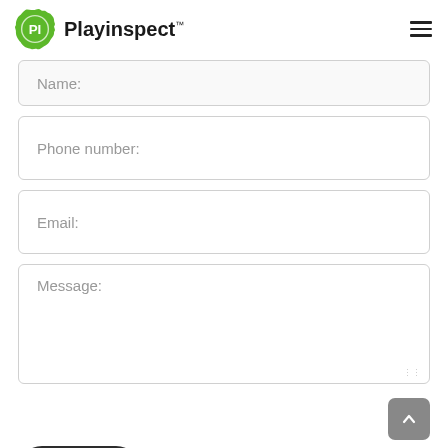Playinspect™
Name:
Phone number:
Email:
Message:
Submit